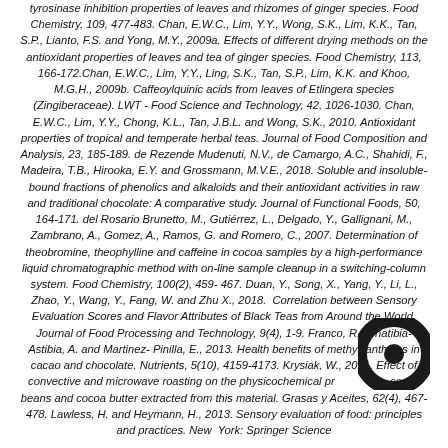tyrosinase inhibition properties of leaves and rhizomes of ginger species. Food Chemistry, 109, 477-483. Chan, E.W.C., Lim, Y.Y., Wong, S.K., Lim, K.K., Tan, S.P., Lianto, F.S. and Yong, M.Y., 2009a. Effects of different drying methods on the antioxidant properties of leaves and tea of ginger species. Food Chemistry, 113, 166-172.Chan, E.W.C., Lim, Y.Y., Ling, S.K., Tan, S.P., Lim, K.K. and Khoo, M.G.H., 2009b. Caffeoylquinic acids from leaves of Etlingera species (Zingiberaceae). LWT - Food Science and Technology, 42, 1026-1030. Chan, E.W.C., Lim, Y.Y., Chong, K.L., Tan, J.B.L. and Wong, S.K., 2010. Antioxidant properties of tropical and temperate herbal teas. Journal of Food Composition and Analysis, 23, 185-189. de Rezende Mudenuti, N.V., de Camargo, A.C., Shahidi, F., Madeira, T.B., Hirooka, E.Y. and Grossmann, M.V.E., 2018. Soluble and insoluble-bound fractions of phenolics and alkaloids and their antioxidant activities in raw and traditional chocolate: A comparative study. Journal of Functional Foods, 50, 164-171. del Rosario Brunetto, M., Gutiérrez, L., Delgado, Y., Gallignani, M., Zambrano, A., Gomez, A., Ramos, G. and Romero, C., 2007. Determination of theobromine, theophylline and caffeine in cocoa samples by a high-performance liquid chromatographic method with on-line sample cleanup in a switching-column system. Food Chemistry, 100(2), 459-467. Duan, Y., Song, X., Yang, Y., Li, L., Zhao, Y., Wang, Y., Fang, W. and Zhu X., 2018. Correlation between Sensory Evaluation Scores and Flavor Attributes of Black Teas from Around the World. Journal of Food Processing and Technology, 9(4), 1-9. Franco, R., Oñatibia-Astibia, A. and Martinez-Pinilla, E., 2013. Health benefits of methylxanthines in cacao and chocolate. Nutrients, 5(10), 4159-4173. Krysiak, W., 2011. Effect of convective and microwave roasting on the physicochemical properties of cocoa beans and cocoa butter extracted from this material. Grasas y Aceites, 62(4), 467-478. Lawless, H. and Heymann, H., 2013. Sensory evaluation of food: principles and practices. New York: Springer Science
[Figure (logo): Circular logo with dark ring and letter Q or similar mark]